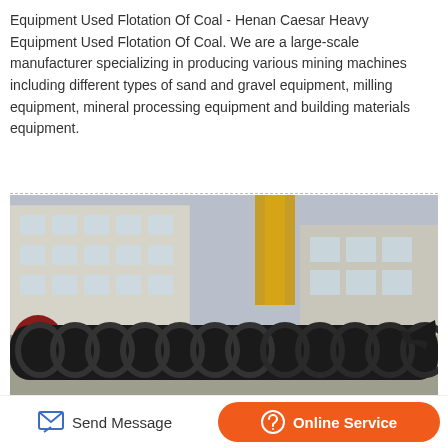Equipment Used Flotation Of Coal - Henan Caesar Heavy Equipment Used Flotation Of Coal. We are a large-scale manufacturer specializing in producing various mining machines including different types of sand and gravel equipment, milling equipment, mineral processing equipment and building materials equipment.
[Figure (photo): A large black spiral/screw conveyor equipment laid out on the ground in front of an industrial building and yellow crane structure]
Send Message | Online Service